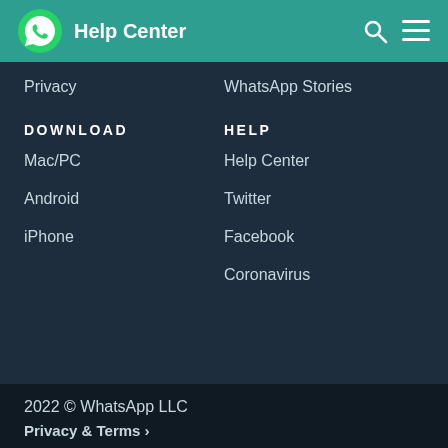Help Center
Privacy
WhatsApp Stories
DOWNLOAD
HELP
Mac/PC
Help Center
Android
Twitter
iPhone
Facebook
Coronavirus
2022 © WhatsApp LLC
Privacy & Terms >